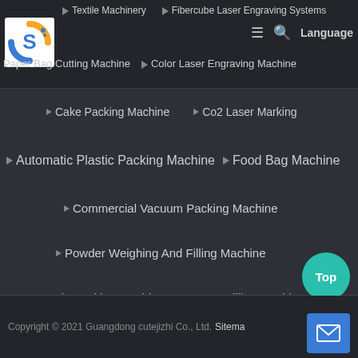[Figure (logo): Company logo with stylized orange/blue S letter]
▶ Textile Machinery
▶ Fibercube Laser Engraving Systems
Paper Bag Cutting Machine
▶ Color Laser Engraving Machine
▶ Cake Packing Machine
▶ Co2 Laser Marking
▶ Automatic Plastic Packing Machine
▶ Food Bag Machine
▶ Commercial Vacuum Packing Machine
▶ Powder Weighing And Filling Machine
▶ Ice Candy Packing Machine
▶ Water Filling Machine
▶ Meal Tray Sealing Machine
▶ Cashew Packing Machine
Copyright © 2021 Guangdong cutejizhi Co., Ltd. Sitemap